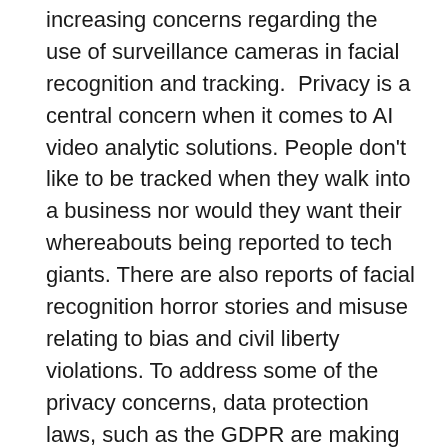increasing concerns regarding the use of surveillance cameras in facial recognition and tracking.  Privacy is a central concern when it comes to AI video analytic solutions. People don't like to be tracked when they walk into a business nor would they want their whereabouts being reported to tech giants. There are also reports of facial recognition horror stories and misuse relating to bias and civil liberty violations. To address some of the privacy concerns, data protection laws, such as the GDPR are making the current approach to video security and surveillance more difficult.
Current solutions to these problems propose the